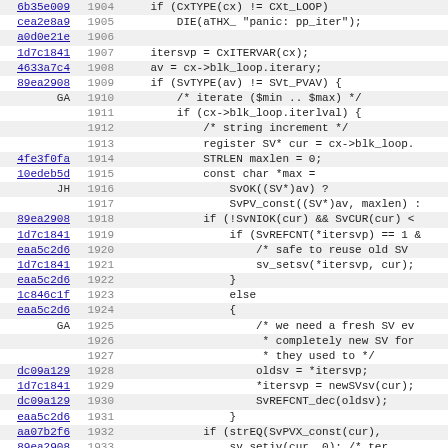[Figure (screenshot): Source code viewer showing lines 1904-1935 of a Perl/C source file with commit hashes, line numbers, and code content including loop iteration logic with SV manipulation functions.]